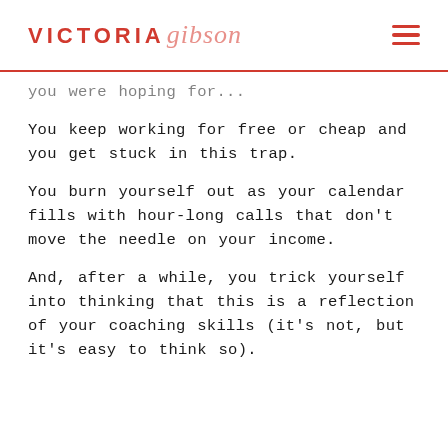VICTORIA gibson
you were hoping for...
You keep working for free or cheap and you get stuck in this trap.
You burn yourself out as your calendar fills with hour-long calls that don't move the needle on your income.
And, after a while, you trick yourself into thinking that this is a reflection of your coaching skills (it's not, but it's easy to think so).